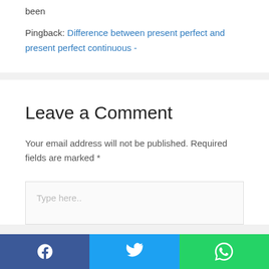been
Pingback: Difference between present perfect and present perfect continuous -
Leave a Comment
Your email address will not be published. Required fields are marked *
Type here..
Facebook | Twitter | WhatsApp social share bar